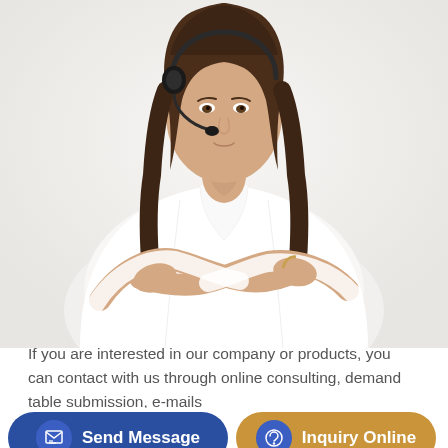[Figure (photo): Woman with dark hair wearing a headset, dressed in a white long-sleeve shirt, standing with arms crossed against a light gray background — customer service representative]
If you are interested in our company or products, you can contact with us through online consulting, demand table submission, e-mails and telephones. Our staff shall wholeheartedly provide product information, application knowledge and good service for you.
Send Message
Inquiry Online